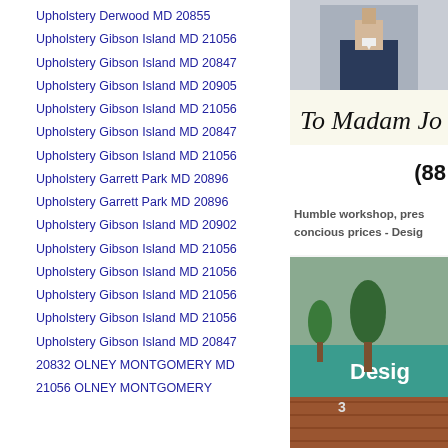Upholstery Derwood MD 20855
Upholstery Gibson Island MD 21056
Upholstery Gibson Island MD 20847
Upholstery Gibson Island MD 20905
Upholstery Gibson Island MD 21056
Upholstery Gibson Island MD 20847
Upholstery Gibson Island MD 21056
Upholstery Garrett Park MD 20896
Upholstery Garrett Park MD 20896
Upholstery Gibson Island MD 20902
Upholstery Gibson Island MD 21056
Upholstery Gibson Island MD 21056
Upholstery Gibson Island MD 21056
Upholstery Gibson Island MD 21056
Upholstery Gibson Island MD 20847
20832 OLNEY MONTGOMERY MD
21056 OLNEY MONTGOMERY
[Figure (photo): Photo of a person in a suit, partially visible]
[Figure (photo): Handwritten signature text]
(8
Humble workshop, pres concious prices - Desig
[Figure (photo): Photo of a store exterior with teal sign reading 'Desig', brick facade and trees]